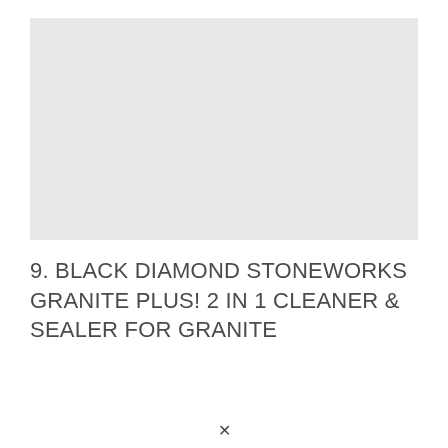[Figure (photo): Light gray rectangular placeholder image for product photo of Black Diamond Stoneworks Granite Plus cleaner and sealer]
9. BLACK DIAMOND STONEWORKS GRANITE PLUS! 2 IN 1 CLEANER & SEALER FOR GRANITE